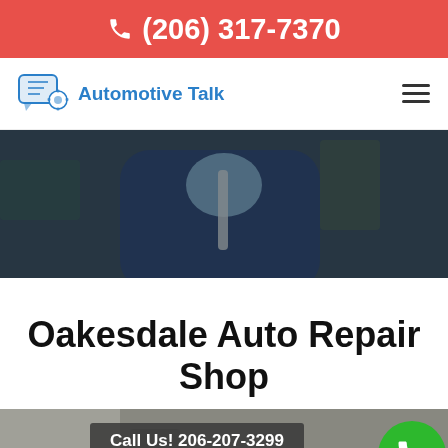(206) 317-7370
[Figure (logo): Automotive Talk logo with gear/chat bubble icon and blue text]
[Figure (photo): Mechanic in blue uniform and gloves holding a wrench, blurred garage background]
Oakesdale Auto Repair Shop
Call Us! 206-207-3299